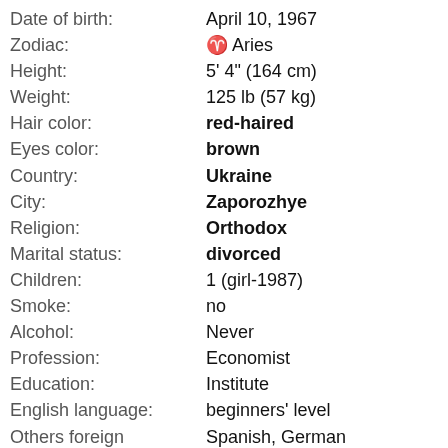| Field | Value |
| --- | --- |
| Date of birth: | April 10, 1967 |
| Zodiac: | ♈ Aries |
| Height: | 5' 4" (164 cm) |
| Weight: | 125 lb (57 kg) |
| Hair color: | red-haired |
| Eyes color: | brown |
| Country: | Ukraine |
| City: | Zaporozhye |
| Religion: | Orthodox |
| Marital status: | divorced |
| Children: | 1 (girl-1987) |
| Smoke: | no |
| Alcohol: | Never |
| Profession: | Economist |
| Education: | Institute |
| English language: | beginners' level |
| Others foreign languages: | Spanish, German |
| Seeks partner: | 55 - 60 years old |